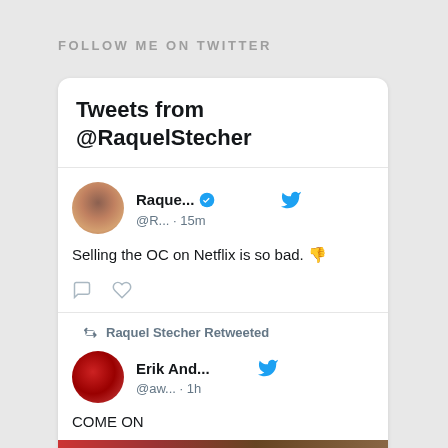FOLLOW ME ON TWITTER
Tweets from @RaquelStecher
Raquel... @R... · 15m
Selling the OC on Netflix is so bad. 👎
Raquel Stecher Retweeted
Erik And... @aw... · 1h
COME ON
[Figure (photo): Partial image at bottom of the card]